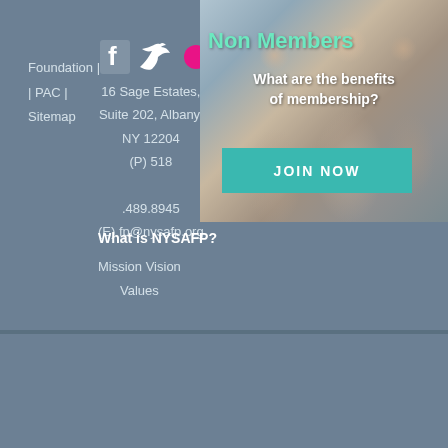Foundation | PAC | Sitemap
16 Sage Estates, Suite 202, Albany, NY 12204 (P) 518 .489.8945 (E) fp@nysafp.org
[Figure (photo): Non Members banner with healthcare workers in background. Text reads 'Non Members - What are the benefits of membership?' with a teal JOIN NOW button.]
What is NYSAFP?
Mission Vision
Values